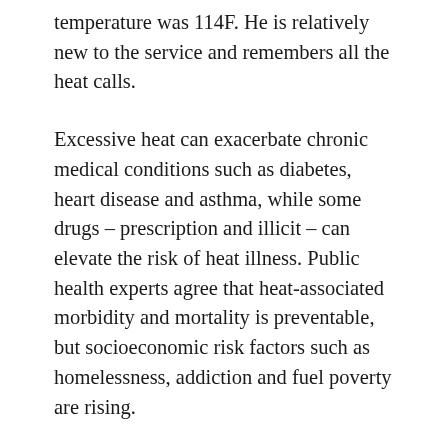temperature was 114F. He is relatively new to the service and remembers all the heat calls.
Excessive heat can exacerbate chronic medical conditions such as diabetes, heart disease and asthma, while some drugs – prescription and illicit – can elevate the risk of heat illness. Public health experts agree that heat-associated morbidity and mortality is preventable, but socioeconomic risk factors such as homelessness, addiction and fuel poverty are rising.
Since records began in 2014, there have been just three days during the months of June and July with no 911 calls for heat illness in